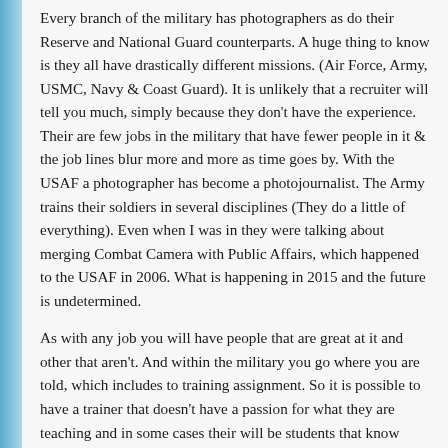Every branch of the military has photographers as do their Reserve and National Guard counterparts. A huge thing to know is they all have drastically different missions. (Air Force, Army, USMC, Navy & Coast Guard). It is unlikely that a recruiter will tell you much, simply because they don't have the experience. Their are few jobs in the military that have fewer people in it & the job lines blur more and more as time goes by. With the USAF a photographer has become a photojournalist. The Army trains their soldiers in several disciplines (They do a little of everything). Even when I was in they were talking about merging Combat Camera with Public Affairs, which happened to the USAF in 2006. What is happening in 2015 and the future is undetermined.
As with any job you will have people that are great at it and other that aren't. And within the military you go where you are told, which includes to training assignment. So it is possible to have a trainer that doesn't have a passion for what they are teaching and in some cases their will be students that know more than the teachers do. My advices is to not let them deter you.